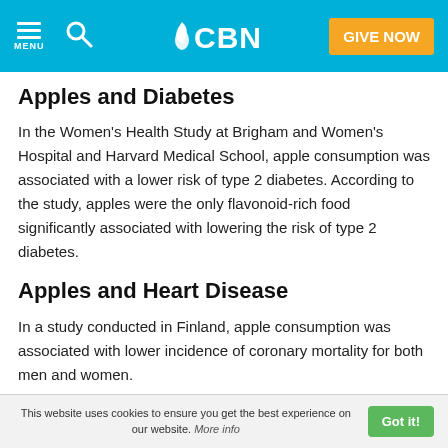CBN – MENU | Search | GIVE NOW
Apples and Diabetes
In the Women's Health Study at Brigham and Women's Hospital and Harvard Medical School, apple consumption was associated with a lower risk of type 2 diabetes. According to the study, apples were the only flavonoid-rich food significantly associated with lowering the risk of type 2 diabetes.
Apples and Heart Disease
In a study conducted in Finland, apple consumption was associated with lower incidence of coronary mortality for both men and women.
This website uses cookies to ensure you get the best experience on our website. More info Got it!